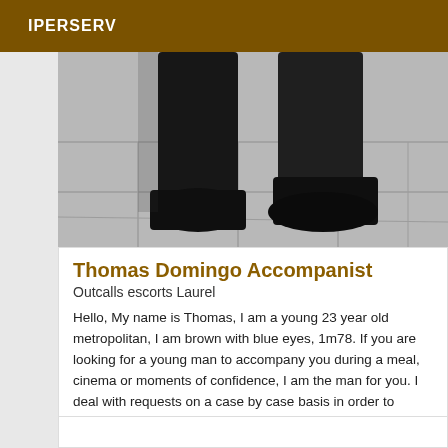IPERSERV
[Figure (photo): Photo of a person's legs and feet wearing dark pants and black leather shoes/boots, walking on a white tiled floor. The image is slightly blurred/in motion.]
Thomas Domingo Accompanist
Outcalls escorts Laurel
Hello, My name is Thomas, I am a young 23 year old metropolitan, I am brown with blue eyes, 1m78. If you are looking for a young man to accompany you during a meal, cinema or moments of confidence, I am the man for you. I deal with requests on a case by case basis in order to ensure the best possible service. See you soon